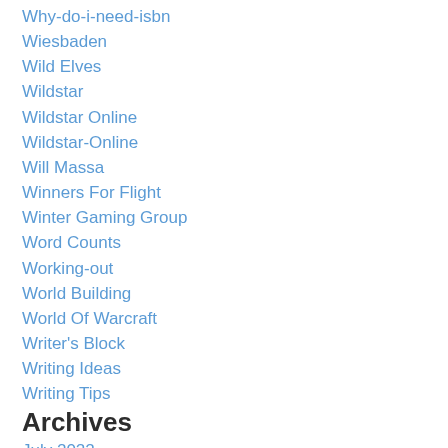Why-do-i-need-isbn
Wiesbaden
Wild Elves
Wildstar
Wildstar Online
Wildstar-Online
Will Massa
Winners For Flight
Winter Gaming Group
Word Counts
Working-out
World Building
World Of Warcraft
Writer's Block
Writing Ideas
Writing Tips
Archives
July 2022
May 2022
March 2022